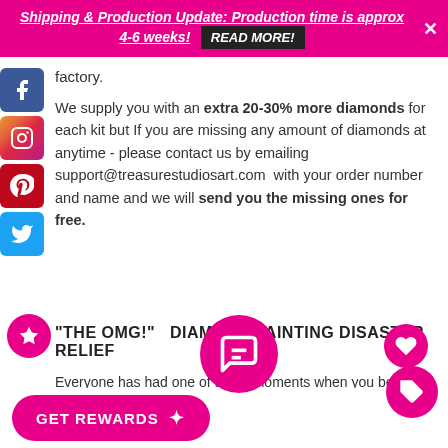Shipping & Production Update: Production time is approx 4-6 weeks! READ MORE!
factory.
We supply you with an extra 20-30% more diamonds for each kit but If you are missing any amount of diamonds at anytime - please contact us by emailing support@treasurestudiosart.com with your order number and name and we will send you the missing ones for free.
"THE OMG!" DIAMOND PAINTING DISASTER RELIEF
Everyone has had one of those moments when you become speechless or you scream out obscenities because the unthinkable just happened!
YEP! The cat ran across the table spilling the diamonds & canvas onto the floor then the dog ran in treading his fur all over the canvas and licked the diamonds!!